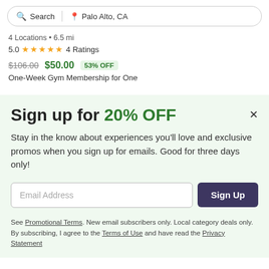Search | Palo Alto, CA
4 Locations • 6.5 mi
5.0 ★★★★★ 4 Ratings
$106.00  $50.00  53% OFF
One-Week Gym Membership for One
Sign up for 20% OFF
Stay in the know about experiences you'll love and exclusive promos when you sign up for emails. Good for three days only!
Email Address  Sign Up
See Promotional Terms. New email subscribers only. Local category deals only. By subscribing, I agree to the Terms of Use and have read the Privacy Statement